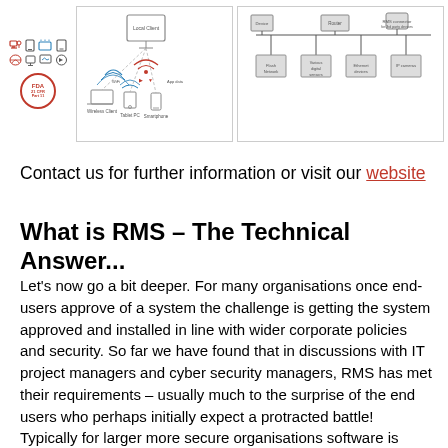[Figure (schematic): Network/RMS system diagram strip showing icons for devices (wireless clients, tablet, smartphone), FDA compliance logo, local client setup with wireless devices, and a network schematic with router, various digital devices, ethernet, IP cameras, and RMS connector for 3rd party devices.]
Contact us for further information or visit our website
What is RMS – The Technical Answer...
Let's now go a bit deeper. For many organisations once end-users approve of a system the challenge is getting the system approved and installed in line with wider corporate policies and security. So far we have found that in discussions with IT project managers and cyber security managers, RMS has met their requirements – usually much to the surprise of the end users who perhaps initially expect a protracted battle! Typically for larger more secure organisations software is required to be installed within their network rather than using the Rotronic Cloud service. Below we discuss the main elements of this type of RMS installation.